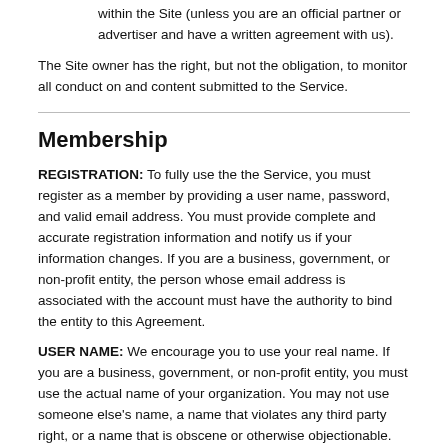within the Site (unless you are an official partner or advertiser and have a written agreement with us).
The Site owner has the right, but not the obligation, to monitor all conduct on and content submitted to the Service.
Membership
REGISTRATION: To fully use the the Service, you must register as a member by providing a user name, password, and valid email address. You must provide complete and accurate registration information and notify us if your information changes. If you are a business, government, or non-profit entity, the person whose email address is associated with the account must have the authority to bind the entity to this Agreement.
USER NAME: We encourage you to use your real name. If you are a business, government, or non-profit entity, you must use the actual name of your organization. You may not use someone else's name, a name that violates any third party right, or a name that is obscene or otherwise objectionable.
ACCOUNT SECURITY: You are responsible for all activity that occurs under your account, including any activity by unauthorized users. You must not allow others to use your account. You must safeguard the